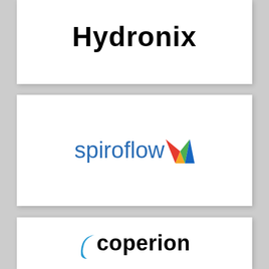[Figure (logo): Hydronix logo — bold black sans-serif text reading 'Hydronix' in a white card]
[Figure (logo): Spiroflow logo — blue sans-serif text 'spiroflow' with a colorful W/arrow mark in a white card]
[Figure (logo): Coperion logo — bold black text 'coperion' with a blue arc/sweep mark to the left in a white card]